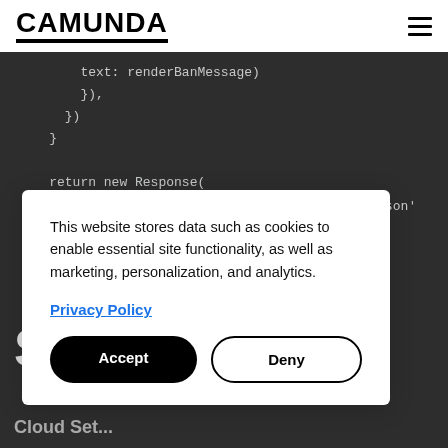CAMUNDA
[Figure (screenshot): Dark code editor background showing JavaScript/TypeScript code snippet with closing braces and 'return new Response(' statement]
This website stores data such as cookies to enable essential site functionality, as well as marketing, personalization, and analytics.
Privacy Policy
Accept
Deny
S